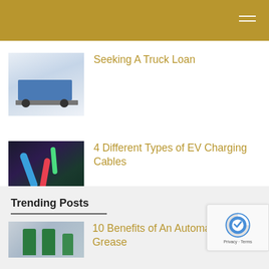Seeking A Truck Loan
[Figure (photo): Photo of a toy blue truck held by a hand, white background]
4 Different Types of EV Charging Cables
[Figure (photo): Photo of EV charging cable plugged into an electric vehicle with colorful cables]
Trending Posts
10 Benefits of An Automatic Grease